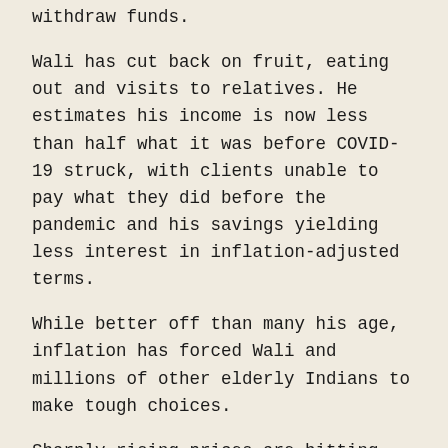withdraw funds.
Wali has cut back on fruit, eating out and visits to relatives. He estimates his income is now less than half what it was before COVID-19 struck, with clients unable to pay what they did before the pandemic and his savings yielding less interest in inflation-adjusted terms.
While better off than many his age, inflation has forced Wali and millions of other elderly Indians to make tough choices.
Sharply rising prices are hitting older people the world over as global supply problems caused by the pandemic -- and made worse by the Ukraine war -- propel food and fuel costs higher.
In India, meagre state pensions mean only a minority of retirees can afford proper healthcare with nearly 15 million of those aged 60 and